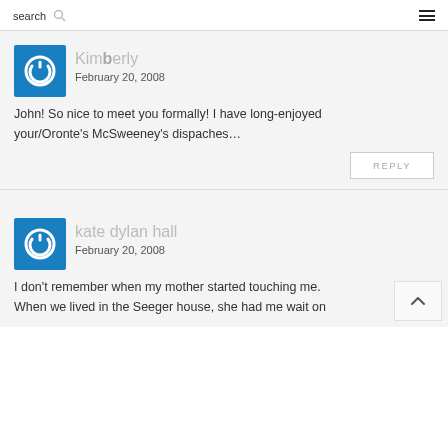search  ☰
Kimberly
February 20, 2008
John! So nice to meet you formally! I have long-enjoyed your/Oronte's McSweeney's dispaches…
REPLY
kate dylan hall
February 20, 2008
I don't remember when my mother started touching me. When we lived in the Seeger house, she had me wait on